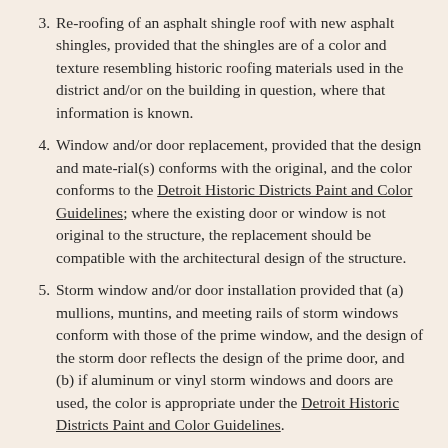Re-roofing of an asphalt shingle roof with new asphalt shingles, provided that the shingles are of a color and texture resembling historic roofing materials used in the district and/or on the building in question, where that information is known.
Window and/or door replacement, provided that the design and mate-rial(s) conforms with the original, and the color conforms to the Detroit Historic Districts Paint and Color Guidelines; where the existing door or window is not original to the structure, the replacement should be compatible with the architectural design of the structure.
Storm window and/or door installation provided that (a) mullions, muntins, and meeting rails of storm windows conform with those of the prime window, and the design of the storm door reflects the design of the prime door, and (b) if aluminum or vinyl storm windows and doors are used, the color is appropriate under the Detroit Historic Districts Paint and Color Guidelines.
Window or door boarding, provided that (a) the boarding up of win-dow(s) and/or door(s) is temporary and for the protection of the building, and (b) the boarding is painted a dark color such as black or